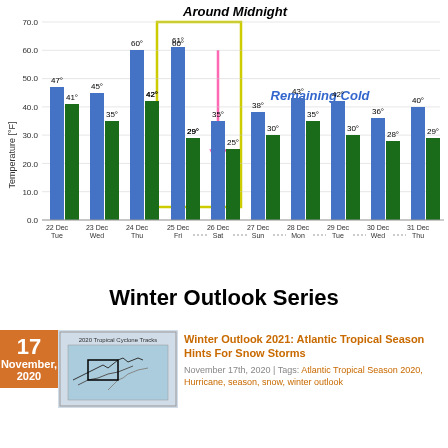[Figure (grouped-bar-chart): Around Midnight]
Winter Outlook Series
[Figure (map): 2020 Tropical Cyclone Tracks map showing hurricane tracks over Atlantic]
Winter Outlook 2021: Atlantic Tropical Season Hints For Snow Storms
November 17th, 2020 | Tags: Atlantic Tropical Season 2020, Hurricane, season, snow, winter outlook